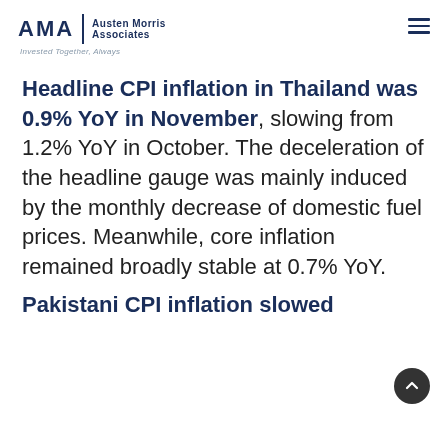AMA | Austen Morris Associates — Invested Together, Always
Headline CPI inflation in Thailand was 0.9% YoY in November, slowing from 1.2% YoY in October. The deceleration of the headline gauge was mainly induced by the monthly decrease of domestic fuel prices. Meanwhile, core inflation remained broadly stable at 0.7% YoY.
Pakistani CPI inflation slowed